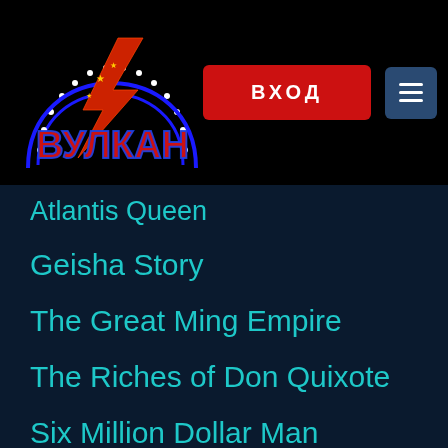[Figure (logo): Vulkan casino logo with red lightning bolt and blue neon arch with dots, red text ВУЛКАН in stylized font]
ВХОД
Atlantis Queen
Geisha Story
The Great Ming Empire
The Riches of Don Quixote
Six Million Dollar Man
Big Shots